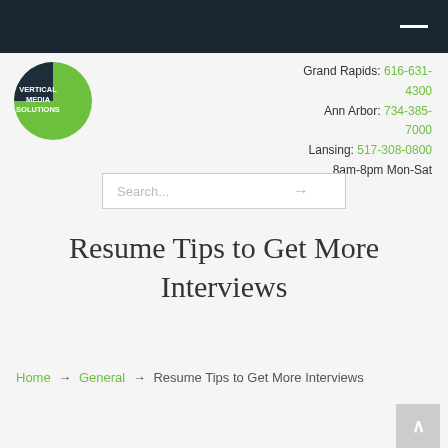Navigation bar (dark)
[Figure (logo): Vertical Media Solutions logo — green circle with dark wedge and white text reading VERTICAL MEDIA SOLUTIONS]
Grand Rapids: 616-631-4300
Ann Arbor: 734-385-7000
Lansing: 517-308-0800
8am-8pm Mon-Sat
Search...
Resume Tips to Get More Interviews
Home → General → Resume Tips to Get More Interviews